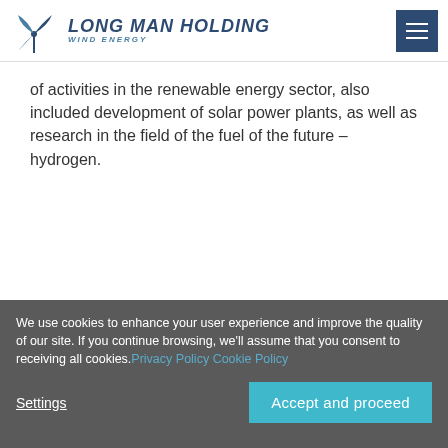LONG MAN HOLDING WIND ENERGY
of activities in the renewable energy sector, also included development of solar power plants, as well as research in the field of the fuel of the future – hydrogen.
What we can do for you
Choosing terrains with appropriate wind and solar potential
We use cookies to enhance your user experience and improve the quality of our site. If you continue browsing, we'll assume that you consent to receiving all cookies. Privacy Policy Cookie Policy
Settings
Accept and proceed